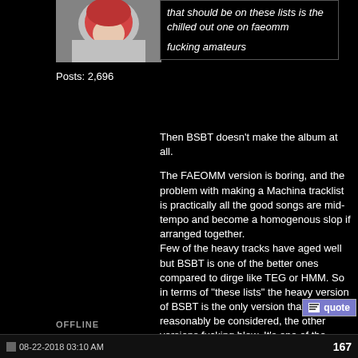[Figure (photo): Avatar photo showing a person with red/dark coloring, partially visible, white background]
Posts: 2,696
that should be on these lists is the chilled out one on faeomm

fucking amateurs
Then BSBT doesn't make the album at all.

The FAEOMM version is boring, and the problem with making a Machina tracklist is practically all the good songs are mid-tempo and become a homogenous slop if arranged together.
Few of the heavy tracks have aged well but BSBT is one of the better ones compared to dirge like TEG or HMM. So in terms of "these lists" the heavy version of BSBT is the only version that could reasonably be considered, the other versions fucking blow. It's one of the worst songs of the era.
OFFLINE
08-22-2018 03:10 AM   167